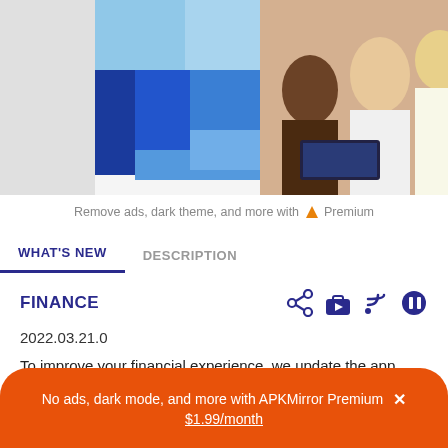[Figure (screenshot): App screenshot showing a finance-related image with blue geometric shapes on the left and a photo of three people in business attire collaborating at a laptop on the right.]
Remove ads, dark theme, and more with ▲ Premium
WHAT'S NEW    DESCRIPTION
FINANCE
2022.03.21.0
To improve your financial experience, we update the app every week. We also ship major features every few months so be sure to keep your app updated!
No ads, dark mode, and more with APKMirror Premium × $1.99/month